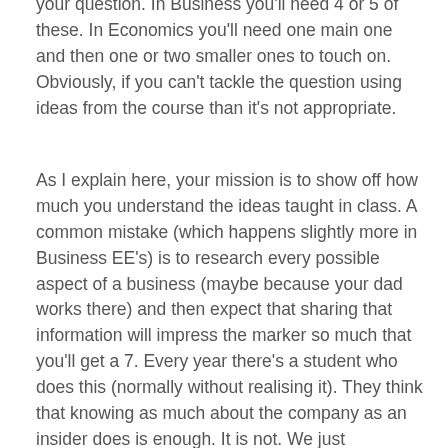your question. In Business you'll need 4 or 5 of these. In Economics you'll need one main one and then one or two smaller ones to touch on. Obviously, if you can't tackle the question using ideas from the course than it's not appropriate.
As I explain here, your mission is to show off how much you understand the ideas taught in class. A common mistake (which happens slightly more in Business EE's) is to research every possible aspect of a business (maybe because your dad works there) and then expect that sharing that information will impress the marker so much that you'll get a 7. Every year there's a student who does this (normally without realising it). They think that knowing as much about the company as an insider does is enough. It is not. We just